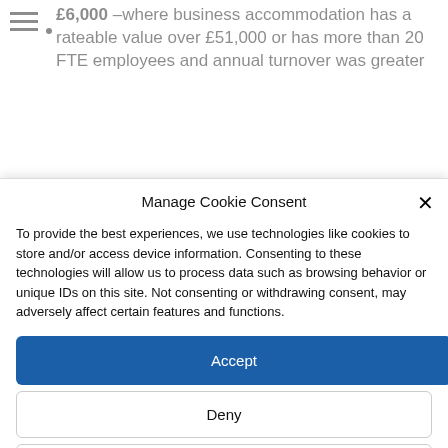£6,000 –where business accommodation has a rateable value over £51,000 or has more than 20 FTE employees and annual turnover was greater
Manage Cookie Consent
To provide the best experiences, we use technologies like cookies to store and/or access device information. Consenting to these technologies will allow us to process data such as browsing behavior or unique IDs on this site. Not consenting or withdrawing consent, may adversely affect certain features and functions.
Accept
Deny
View preferences
Cookie Policy  Privacy Policy